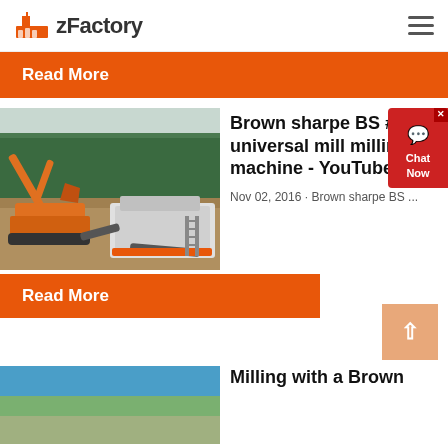zFactory
Read More
[Figure (photo): Excavator and crushing/screening equipment at a quarry or mining site with forest in background]
Brown sharpe BS #2 universal mill milling machine - YouTube
Nov 02, 2016 · Brown sharpe BS ...
Read More
[Figure (photo): Partially visible photo at bottom, appears to show earth-moving equipment or mining scene]
Milling with a Brown